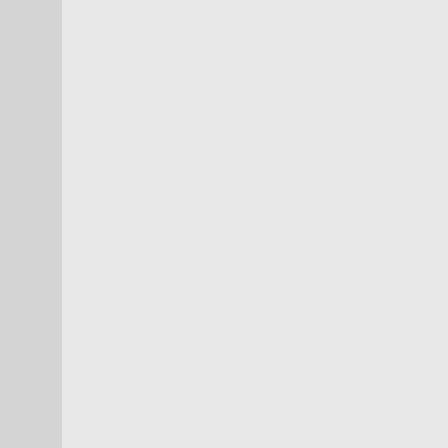and Air Force people -- so they get pride of place the Army and AF (not tha IMO, au contraire...* ). T Dictatorships are not the nervous by Armies that a buy into that offsetting fo one reason why the inef so often deplore are so t Congress does not want a variety of reasons. Thu screwup occurs, Congre on the wrist -- and imme as usual. That's unlikely existential problem -- no time...
You always say that, the Congre too. Why do you say that? The armies but in the last hundred c any important politicians or maj Army must be kept weak and co kept in being to preclude the po
Last edited by carl; 06-03-2012 at 0...